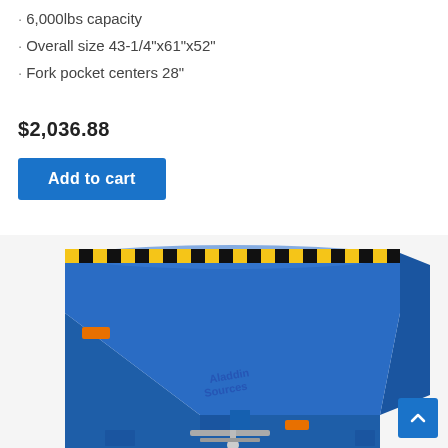6,000lbs capacity
Overall size 43-1/4"x61"x52"
Fork pocket centers 28"
$2,036.88
Add to cart
[Figure (photo): Blue industrial self-dumping hopper/dumpster with yellow and black hazard stripes along the top rim, front-discharge design, forklift pockets at the base, and a watermark reading 'Aladdin Sources']